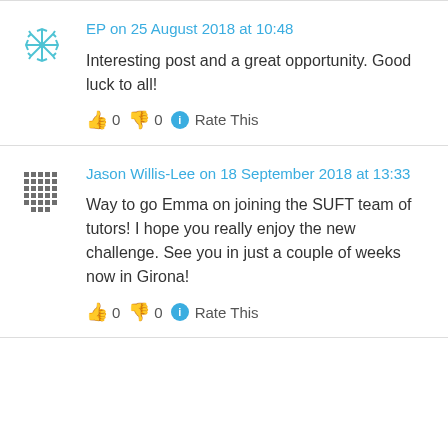EP on 25 August 2018 at 10:48
Interesting post and a great opportunity. Good luck to all!
👍 0 👎 0 ℹ Rate This
Jason Willis-Lee on 18 September 2018 at 13:33
Way to go Emma on joining the SUFT team of tutors! I hope you really enjoy the new challenge. See you in just a couple of weeks now in Girona!
👍 0 👎 0 ℹ Rate This